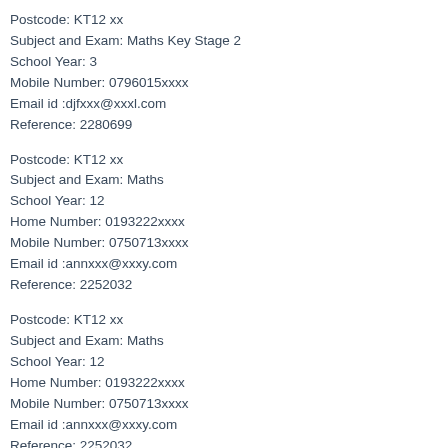Postcode: KT12 xx
Subject and Exam: Maths Key Stage 2
School Year: 3
Mobile Number: 0796015xxxx
Email id :djfxxx@xxxl.com
Reference: 2280699
Postcode: KT12 xx
Subject and Exam: Maths
School Year: 12
Home Number: 0193222xxxx
Mobile Number: 0750713xxxx
Email id :annxxx@xxxy.com
Reference: 2252032
Postcode: KT12 xx
Subject and Exam: Maths
School Year: 12
Home Number: 0193222xxxx
Mobile Number: 0750713xxxx
Email id :annxxx@xxxy.com
Reference: 2252032
Postcode: KT12 xx